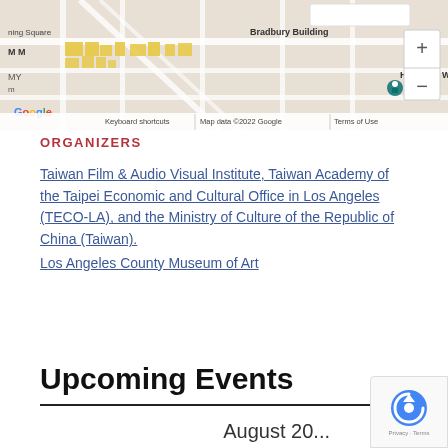[Figure (map): Google Maps screenshot showing area around Bradbury Building, Hauser & Wirth, National Museum, and surrounding Los Angeles streets with zoom controls and map attribution.]
ORGANIZERS
Taiwan Film & Audio Visual Institute, Taiwan Academy of the Taipei Economic and Cultural Office in Los Angeles (TECO-LA), and the Ministry of Culture of the Republic of China (Taiwan).
Los Angeles County Museum of Art
Upcoming Events
August 20...